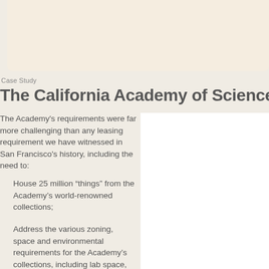[Figure (photo): Beige/cream colored image area at top of page]
Case Study
The California Academy of Sciences
The Academy's requirements were far more challenging than any leasing requirement we have witnessed in San Francisco's history, including the need to:
House 25 million “things” from the Academy’s world-renowned collections;
Address the various zoning, space and environmental requirements for the Academy’s collections, including lab space, water supply, storage, drainage,